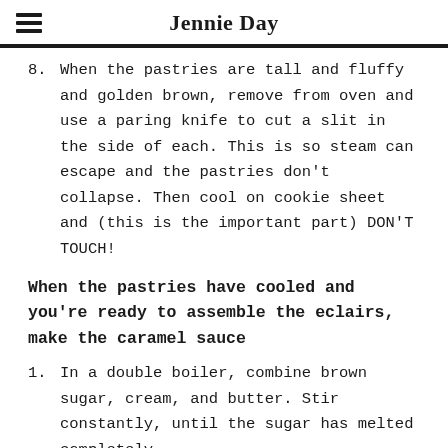Jennie Day
8. When the pastries are tall and fluffy and golden brown, remove from oven and use a paring knife to cut a slit in the side of each. This is so steam can escape and the pastries don't collapse. Then cool on cookie sheet and (this is the important part) DON'T TOUCH!
When the pastries have cooled and you're ready to assemble the eclairs, make the caramel sauce
1. In a double boiler, combine brown sugar, cream, and butter. Stir constantly, until the sugar has melted completely.